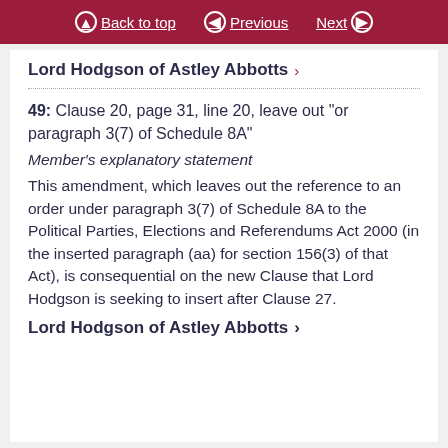Back to top  Previous  Next
Lord Hodgson of Astley Abbotts >
49: Clause 20, page 31, line 20, leave out “or paragraph 3(7) of Schedule 8A”
Member’s explanatory statement
This amendment, which leaves out the reference to an order under paragraph 3(7) of Schedule 8A to the Political Parties, Elections and Referendums Act 2000 (in the inserted paragraph (aa) for section 156(3) of that Act), is consequential on the new Clause that Lord Hodgson is seeking to insert after Clause 27.
Lord Hodgson of Astley Abbotts >